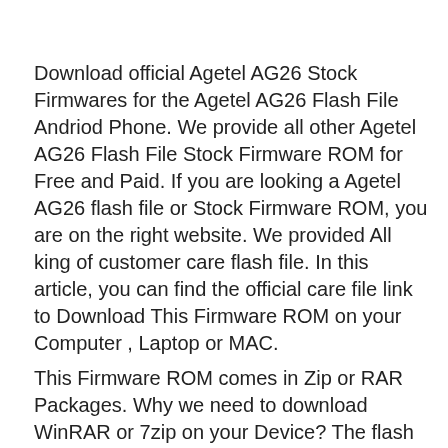Download official Agetel AG26 Stock Firmwares for the Agetel AG26 Flash File Andriod Phone. We provide all other Agetel AG26 Flash File Stock Firmware ROM for Free and Paid. If you are looking a Agetel AG26 flash file or Stock Firmware ROM, you are on the right website. We provided All king of customer care flash file. In this article, you can find the official care file link to Download This Firmware ROM on your Computer , Laptop or MAC.
This Firmware ROM comes in Zip or RAR Packages. Why we need to download WinRAR or 7zip on your Device? The flash file will help to Downgrade, Upgrade, or re-install the Stock Firmware ROM (OS) on that Smartphone.
The Flash (ROM) help you also to repair the Mobile devices, facing any Software Issue, Bootloop Issue, IMEI Issue, and Dead Issue. You will fix all kind of problem what you faceing